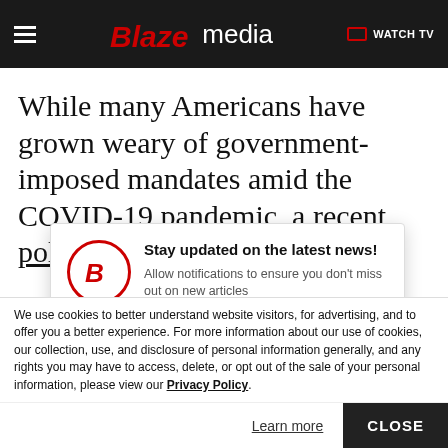Blaze media — WATCH TV
While many Americans have grown weary of government-imposed mandates amid the COVID-19 pandemic, a recent poll of District of
[Figure (screenshot): Browser notification popup overlay from Blaze Media website with logo, headline 'Stay updated on the latest news!', subtext 'Allow notifications to ensure you don't miss out on new articles', and two buttons: Block and Allow.]
We use cookies to better understand website visitors, for advertising, and to offer you a better experience. For more information about our use of cookies, our collection, use, and disclosure of personal information generally, and any rights you may have to access, delete, or opt out of the sale of your personal information, please view our Privacy Policy.
Learn more   CLOSE